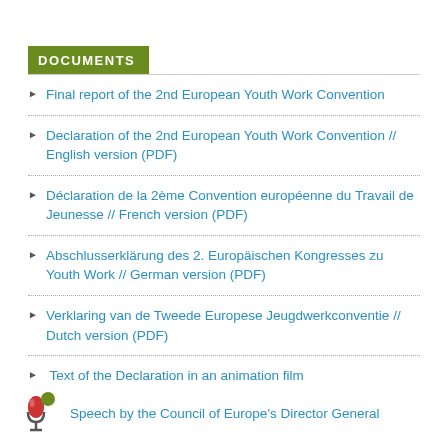DOCUMENTS
Final report of the 2nd European Youth Work Convention
Declaration of the 2nd European Youth Work Convention // English version (PDF)
Déclaration de la 2ème Convention européenne du Travail de Jeunesse // French version (PDF)
Abschlusserklärung des 2. Europäischen Kongresses zu Youth Work // German version (PDF)
Verklaring van de Tweede Europese Jeugdwerkconventie // Dutch version (PDF)
Text of the Declaration in an animation film
Speech by the Council of Europe's Director General